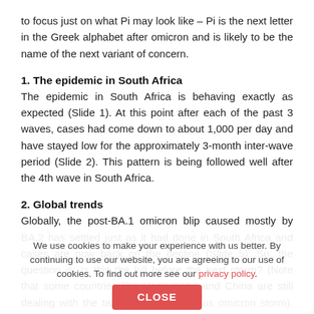to focus just on what Pi may look like – Pi is the next letter in the Greek alphabet after omicron and is likely to be the name of the next variant of concern.
1. The epidemic in South Africa
The epidemic in South Africa is behaving exactly as expected (Slide 1). At this point after each of the past 3 waves, cases had come down to about 1,000 per day and have stayed low for the approximately 3-month inter-wave period (Slide 2). This pattern is being followed well after the 4th wave in South Africa.
2. Global trends
Globally, the post-BA.1 omicron blip caused mostly by BA.2 has settled just as it had done in South Africa and cases are now back on the decline (Slide 5). So, the question is: Is this the lull before the next storm? (Note that some countries like Hong Kong and China are still dealing with the tail-end of the previous omicron storm). Or has SARS-CoV-2 reached it zenith in terms of mutations that confer an advantage (Slide 6). While I am hoping for the latter, I am expecting the former and that the current lull will likely be shattered in about a month's time in South Africa. But for this to happen, there has to be a new
We use cookies to make your experience with us better. By continuing to use our website, you are agreeing to our use of cookies. To find out more see our privacy policy.
CLOSE